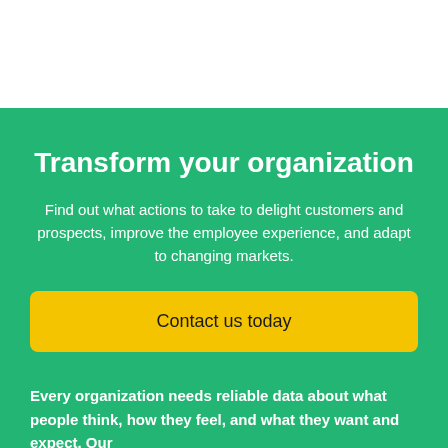Transform your organization
Find out what actions to take to delight customers and prospects, improve the employee experience, and adapt to changing markets.
Contact us today
Every organization needs reliable data about what people think, how they feel, and what they want and expect. Our